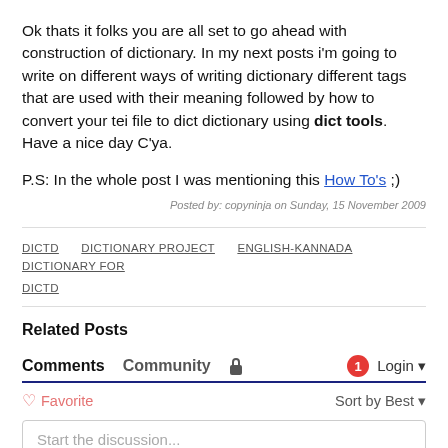Ok thats it folks you are all set to go ahead with construction of dictionary. In my next posts i'm going to write on different ways of writing dictionary different tags that are used with their meaning followed by how to convert your tei file to dict dictionary using dict tools. Have a nice day C'ya.
P.S: In the whole post I was mentioning this How To's ;)
Posted by: copyninja on Sunday, 15 November 2009
DICTD   DICTIONARY PROJECT   ENGLISH-KANNADA DICTIONARY FOR DICTD
Related Posts
Comments   Community   [lock icon]   1   Login ▾
♡ Favorite   Sort by Best ▾
Start the discussion...
LOG IN WITH